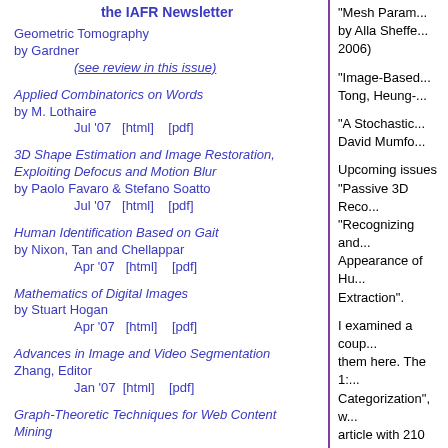the IAFR Newsletter
Geometric Tomography by Gardner
(see review in this issue)
Applied Combinatorics on Words by M. Lothaire
Jul '07  [html]  [pdf]
3D Shape Estimation and Image Restoration, Exploiting Defocus and Motion Blur by Paolo Favaro & Stefano Soatto
Jul '07  [html]  [pdf]
Human Identification Based on Gait by Nixon, Tan and Chellappar
Apr '07  [html]  [pdf]
Mathematics of Digital Images by Stuart Hogan
Apr '07  [html]  [pdf]
Advances in Image and Video Segmentation Zhang, Editor
Jan '07  [html]  [pdf]
Graph-Theoretic Techniques for Web Content Mining
"Mesh Param... by Alla Sheffe... 2006)
"Image-Based... Tong, Heung-...
"A Stochastic... David Mumfo...
Upcoming issues "Passive 3D Reco... "Recognizing and... Appearance of Hu... Extraction".
I examined a coup... them here. The 1:... Categorization", w... article with 210 re... basic principles, it... course in signal/im... and is perhaps int... undergraduate pro...